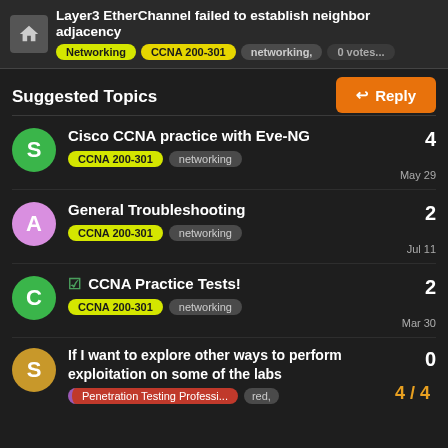Layer3 EtherChannel failed to establish neighbor adjacency | Networking | CCNA 200-301 | networking, | 0 votes...
Reply
Suggested Topics
Cisco CCNA practice with Eve-NG | CCNA 200-301 | networking | 4 | May 29
General Troubleshooting | CCNA 200-301 | networking | 2 | Jul 11
CCNA Practice Tests! | CCNA 200-301 | networking | 2 | Mar 30
If I want to explore other ways to perform exploitation on some of the labs | Penetration Testing Professi... | red, | 0 | 4/4